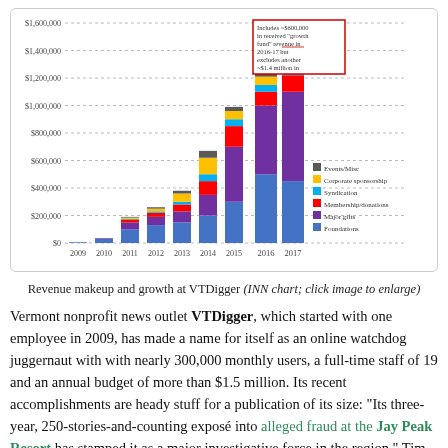[Figure (stacked-bar-chart): Revenue makeup and growth at VTDigger]
Revenue makeup and growth at VTDigger (INN chart; click image to enlarge)
Vermont nonprofit news outlet VTDigger, which started with one employee in 2009, has made a name for itself as an online watchdog juggernaut with with nearly 300,000 monthly users, a full-time staff of 19 and an annual budget of more than $1.5 million. Its recent accomplishments are heady stuff for a publication of its size: "Its three-year, 250-stories-and-counting exposé into alleged fraud at the Jay Peak Resort has stamped it as a major investigative force in the region," Tim Griggs reports for the Institute for Nonprofit News. "It hired the first-ever Vermont-focused D.C. bureau